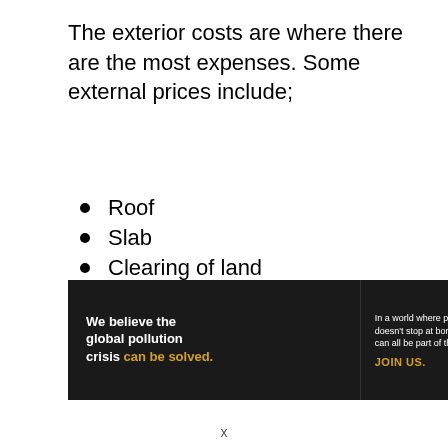The exterior costs are where there are the most expenses. Some external prices include;
Roof
Slab
Clearing of land
Roof
Plumbing
[Figure (other): Advertisement banner for Pure Earth: 'We believe the global pollution crisis can be solved. In a world where pollution doesn't stop at borders, we can all be part of the solution. JOIN US.' with Pure Earth logo.]